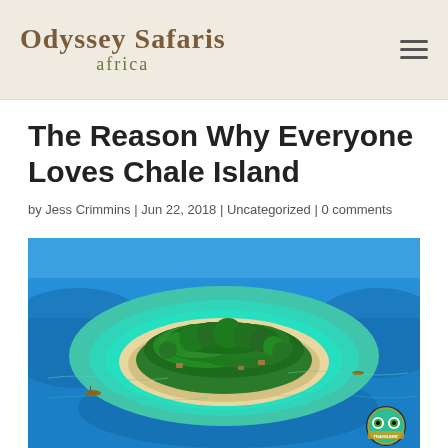Odyssey Safaris africa
The Reason Why Everyone Loves Chale Island
by Jess Crimmins | Jun 22, 2018 | Uncategorized | 0 comments
[Figure (photo): Aerial photograph of Chale Island, Kenya, showing a lush green tree-covered island surrounded by turquoise and blue ocean waters, with white sandy beaches and small structures visible along the shore. A TripAdvisor award badge is visible in the bottom right corner.]